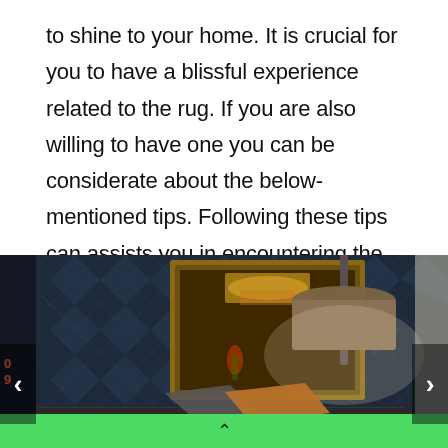to shine to your home. It is crucial for you to have a blissful experience related to the rug. If you are also willing to have one you can be considerate about the below-mentioned tips. Following these tips can assists you in encountering the best experience through it.
[Figure (photo): Interior design photo showing a dark blue quilted/textured wall with diamond pattern, a gold-framed mirror reflecting a chandelier, a modern floor lamp with gold drum shade, and a dark gray tufted bench/sofa with gold and gray throw pillows]